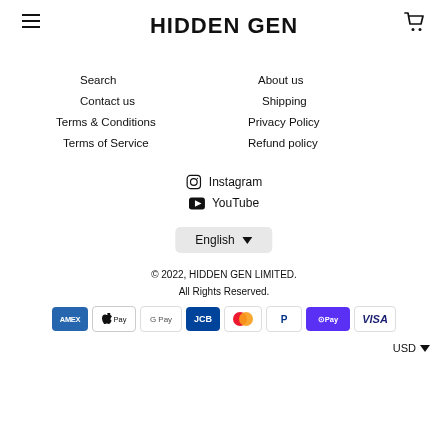HIDDEN GEN
Search
Contact us
Terms & Conditions
Terms of Service
About us
Shipping
Privacy Policy
Refund policy
Instagram
YouTube
English
© 2022, HIDDEN GEN LIMITED.
All Rights Reserved.
[Figure (logo): Payment method icons: American Express, Apple Pay, Google Pay, JCB, Mastercard, PayPal, Shop Pay, Visa]
USD